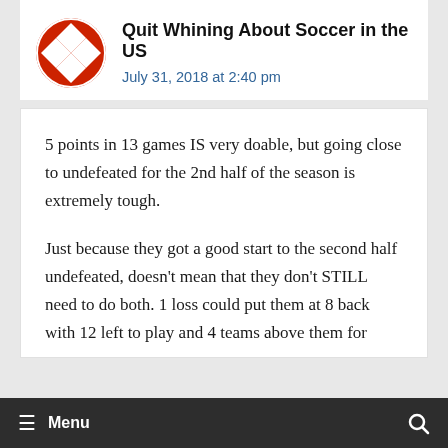Quit Whining About Soccer in the US
July 31, 2018 at 2:40 pm
5 points in 13 games IS very doable, but going close to undefeated for the 2nd half of the season is extremely tough.
Just because they got a good start to the second half undefeated, doesn't mean that they don't STILL need to do both. 1 loss could put them at 8 back with 12 left to play and 4 teams above them for
≡ Menu